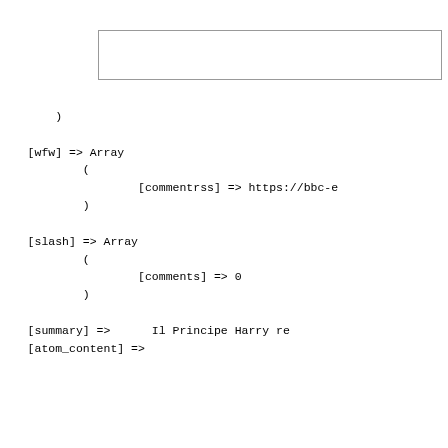[Figure (screenshot): Empty outlined rectangle/box near top of page]
)

    [wfw] => Array
            (
                    [commentrss] => https://bbc-e
            )

    [slash] => Array
            (
                    [comments] => 0
            )

    [summary] =>      Il Principe Harry re
    [atom_content] =>